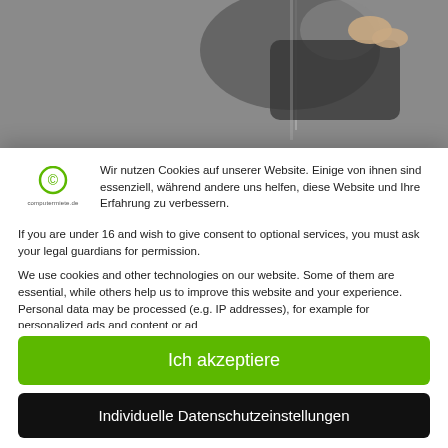[Figure (photo): Partial view of a person holding a dark leather wallet, shown from above against a gray background.]
Wir nutzen Cookies auf unserer Website. Einige von ihnen sind essenziell, während andere uns helfen, diese Website und Ihre Erfahrung zu verbessern.
If you are under 16 and wish to give consent to optional services, you must ask your legal guardians for permission.
We use cookies and other technologies on our website. Some of them are essential, while others help us to improve this website and your experience. Personal data may be processed (e.g. IP addresses), for example for personalized ads and content or ad
Ich akzeptiere
Individuelle Datenschutzeinstellungen